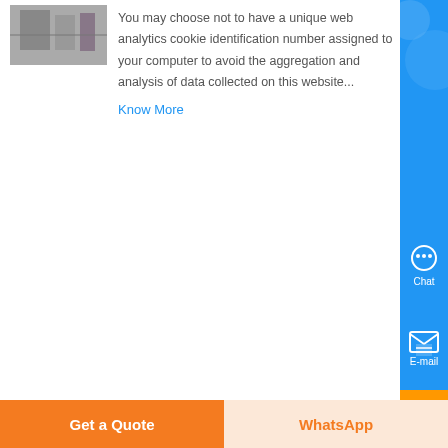[Figure (photo): Small thumbnail image of industrial/mining equipment or facility, partially visible at top left]
You may choose not to have a unique web analytics cookie identification number assigned to your computer to avoid the aggregation and analysis of data collected on this website...
Know More
[Figure (photo): Thumbnail image of underground mining equipment structure/scaffolding]
Used Underground Mining Equipment for Sale - EquipmentMine
Used underground mining equipment and surplus parts for sale on EquipmentMine You have changed your edition to Global Edition aware sections
Get a Quote
WhatsApp